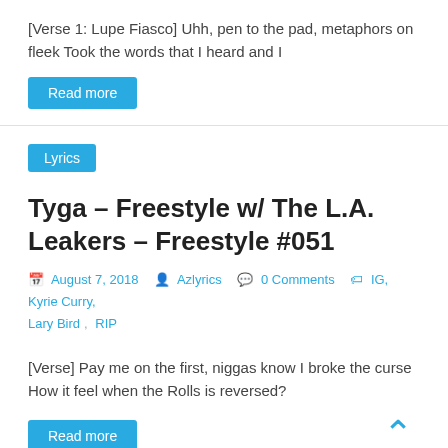[Verse 1: Lupe Fiasco] Uhh, pen to the pad, metaphors on fleek Took the words that I heard and I
Read more
Lyrics
Tyga – Freestyle w/ The L.A. Leakers – Freestyle #051
August 7, 2018  Azlyrics  0 Comments  IG, Kyrie Curry, Lary Bird, RIP
[Verse] Pay me on the first, niggas know I broke the curse How it feel when the Rolls is reversed?
Read more